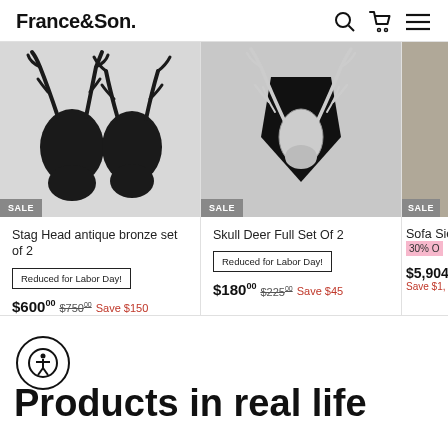France&Son — navigation header
[Figure (photo): Black stag head wall mount antique bronze set of 2 with SALE badge]
Stag Head antique bronze set of 2
Reduced for Labor Day!
$600.00  $750.00  Save $150
[Figure (photo): Silver skull deer full set of 2 mounted on black shield with SALE badge]
Skull Deer Full Set Of 2
Reduced for Labor Day!
$180.00  $225.00  Save $45
[Figure (photo): Partial view of a grey sofa with SALE badge and 30% Off badge]
Sofa Sie...
30% O...
$5,904...
Save $1,...
Products in real life